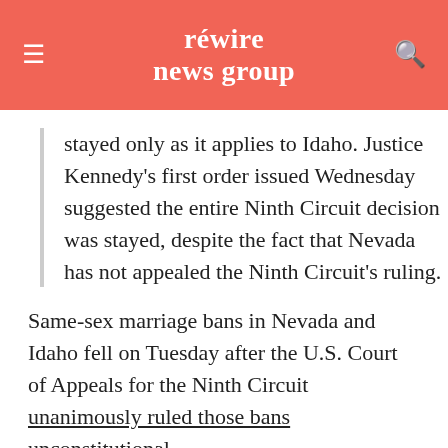rewire news group
stayed only as it applies to Idaho. Justice Kennedy's first order issued Wednesday suggested the entire Ninth Circuit decision was stayed, despite the fact that Nevada has not appealed the Ninth Circuit's ruling.
Same-sex marriage bans in Nevada and Idaho fell on Tuesday after the U.S. Court of Appeals for the Ninth Circuit unanimously ruled those bans unconstitutional.
The decision came just one day after the U.S. Supreme Court declined to take up appeals in seven cases challenging marriage bans across the country. Marriage equality, as a result of that decision, is now recognized in Wisconsin, Oklahoma, Utah, Virginia, and Indiana. It also